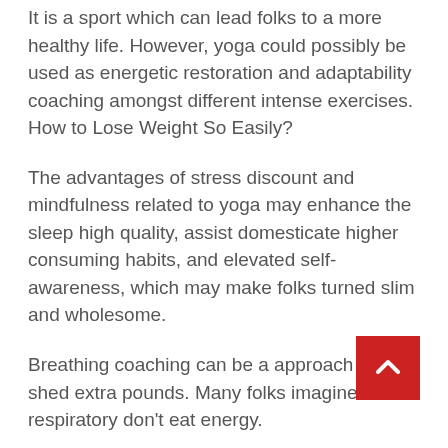It is a sport which can lead folks to a more healthy life. However, yoga could possibly be used as energetic restoration and adaptability coaching amongst different intense exercises. How to Lose Weight So Easily?
The advantages of stress discount and mindfulness related to yoga may enhance the sleep high quality, assist domesticate higher consuming habits, and elevated self-awareness, which may make folks turned slim and wholesome.
Breathing coaching can be a approach to shed extra pounds. Many folks imagine that respiratory don't eat energy.
In reality, yoga respiratory coaching can regulate the physique's nervous system, management urge for f… enhance digestion and absorption, keep away from …e meals consumption. In order to shed extra pounds, your physique should burn off extra energy per day than it takes